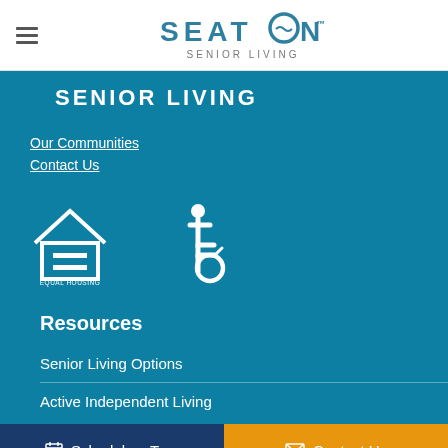Seaton Senior Living
SENIOR LIVING
Our Communities
Contact Us
[Figure (logo): Equal Housing Opportunity logo — house outline with equals sign inside]
[Figure (logo): Wheelchair accessibility icon]
Resources
Senior Living Options
Active Independent Living
Schedule a Tour | Contact Us